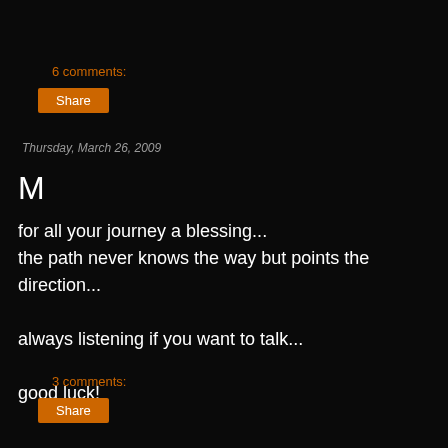6 comments:
Share
Thursday, March 26, 2009
M
for all your journey a blessing...
the path never knows the way but points the direction...

always listening if you want to talk...

good luck!
3 comments:
Share